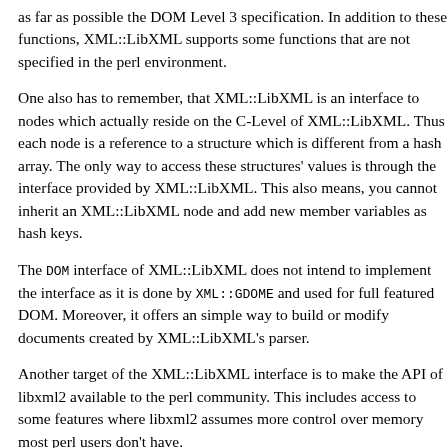as far as possible the DOM Level 3 specification. In addition to these functions, XML::LibXML supports some functions that are not specified in the perl environment.
One also has to remember, that XML::LibXML is an interface to nodes which actually reside on the C-Level of XML::LibXML. Thus each node is a reference to a structure which is different from a hash array. The only way to access these structures' values is through the interface provided by XML::LibXML. This also means, you cannot inherit an XML::LibXML node and add new member variables as hash keys.
The DOM interface of XML::LibXML does not intend to implement the interface as it is done by XML::GDOME and used for full featured DOM. Moreover, it offers an simple way to build or modify documents created by XML::LibXML's parser.
Another target of the XML::LibXML interface is to make the API of libxml2 available to the perl community. This includes access to some features where libxml2 assumes more control over memory most perl users don't have.